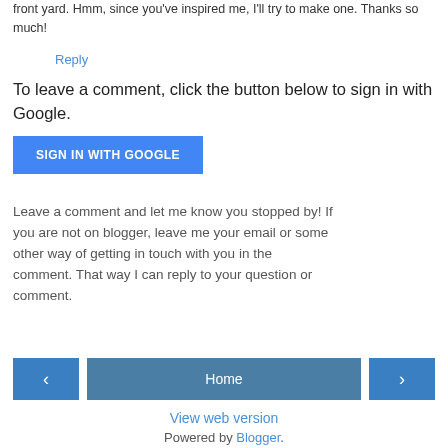front yard. Hmm, since you've inspired me, I'll try to make one. Thanks so much!
Reply
To leave a comment, click the button below to sign in with Google.
[Figure (other): Blue 'SIGN IN WITH GOOGLE' button]
Leave a comment and let me know you stopped by! If you are not on blogger, leave me your email or some other way of getting in touch with you in the comment. That way I can reply to your question or comment.
[Figure (other): Navigation bar with left arrow, Home button, and right arrow buttons]
View web version
Powered by Blogger.